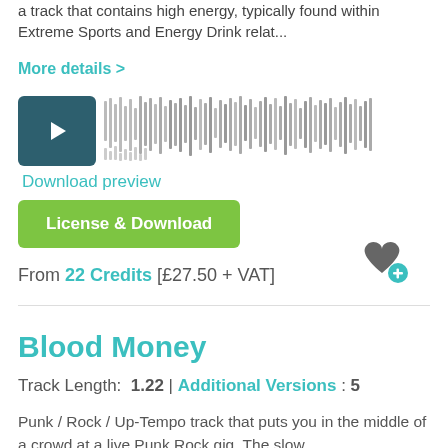a track that contains high energy, typically found within Extreme Sports and Energy Drink relat...
More details >
[Figure (other): Audio player with dark teal play button and waveform visualization]
Download preview
License & Download
From 22 Credits [£27.50 + VAT]
Blood Money
Track Length:  1.22  |  Additional Versions : 5
Punk / Rock / Up-Tempo track that puts you in the middle of a crowd at a live Punk Rock gig. The slow...